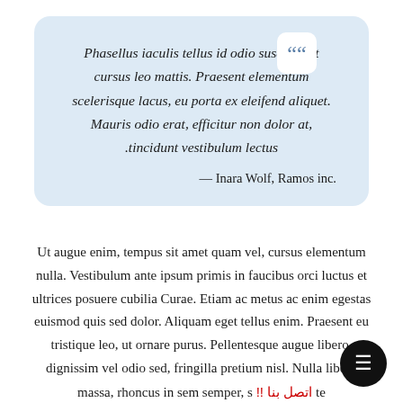Phasellus iaculis tellus id odio suscipit, at cursus leo mattis. Praesent elementum scelerisque lacus, eu porta ex eleifend aliquet. Mauris odio erat, efficitur non dolor at, .tincidunt vestibulum lectus
— Inara Wolf, Ramos inc.
Ut augue enim, tempus sit amet quam vel, cursus elementum nulla. Vestibulum ante ipsum primis in faucibus orci luctus et ultrices posuere cubilia Curae. Etiam ac metus ac enim egestas euismod quis sed dolor. Aliquam eget tellus enim. Praesent eu tristique leo, ut ornare purus. Pellentesque augue libero, dignissim vel odio sed, fringilla pretium nisl. Nulla libero massa, rhoncus in sem semper, s !! اتصل بنا te erat massa, imperdiet quis turpis nec, faucibus aliquam s. .Donec ut egestas orci